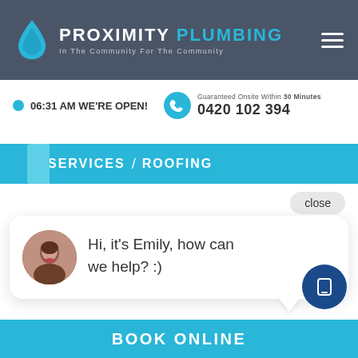PROXIMITY PLUMBING — In The Community For The Community
06:31 AM WE'RE OPEN!
Guaranteed Onsite Within 30 Minutes
0420 102 394
SERVICES / ROOFING
close
Hi, it's Emily, how can we help? :)
BOOK ONLINE